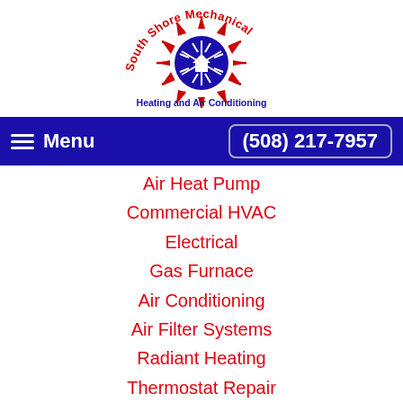[Figure (logo): South Shore Mechanical Heating and Air Conditioning logo with snowflake emblem and red arched text]
Menu  (508) 217-7957
Air Heat Pump
Commercial HVAC
Electrical
Gas Furnace
Air Conditioning
Air Filter Systems
Radiant Heating
Thermostat Repair
Ductless Mini Splits